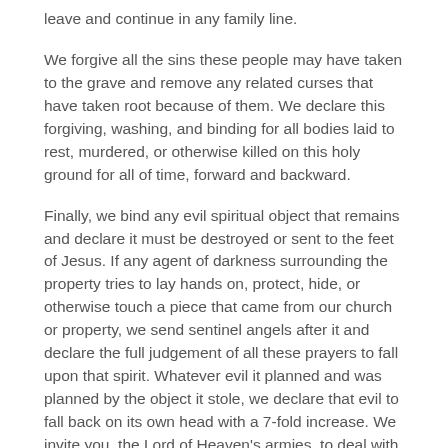leave and continue in any family line.
We forgive all the sins these people may have taken to the grave and remove any related curses that have taken root because of them. We declare this forgiving, washing, and binding for all bodies laid to rest, murdered, or otherwise killed on this holy ground for all of time, forward and backward.
Finally, we bind any evil spiritual object that remains and declare it must be destroyed or sent to the feet of Jesus. If any agent of darkness surrounding the property tries to lay hands on, protect, hide, or otherwise touch a piece that came from our church or property, we send sentinel angels after it and declare the full judgement of all these prayers to fall upon that spirit. Whatever evil it planned and was planned by the object it stole, we declare that evil to fall back on its own head with a 7-fold increase. We invite you, the Lord of Heaven's armies, to deal with these.